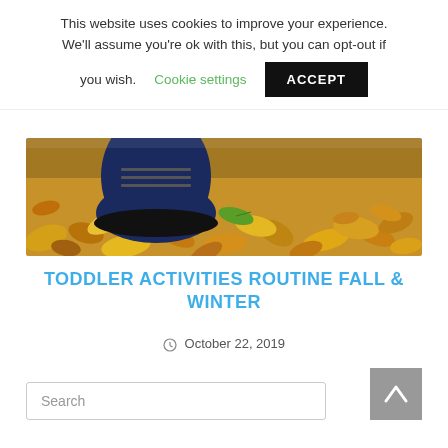This website uses cookies to improve your experience. We'll assume you're ok with this, but you can opt-out if you wish.
Cookie settings
ACCEPT
[Figure (photo): Close-up photo of a child's shoe stepping on autumn leaves on the ground]
TODDLER ACTIVITIES ROUTINE FALL & WINTER
October 22, 2019
Search